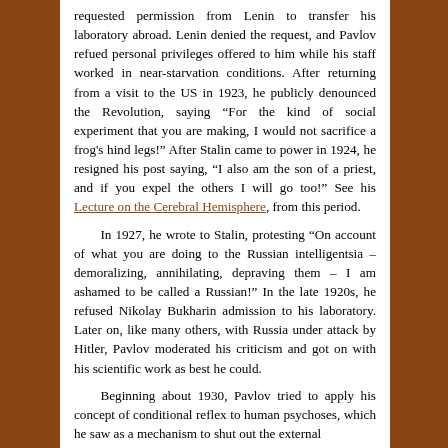requested permission from Lenin to transfer his laboratory abroad. Lenin denied the request, and Pavlov refued personal privileges offered to him while his staff worked in near-starvation conditions. After returning from a visit to the US in 1923, he publicly denounced the Revolution, saying “For the kind of social experiment that you are making, I would not sacrifice a frog's hind legs!” After Stalin came to power in 1924, he resigned his post saying, “I also am the son of a priest, and if you expel the others I will go too!” See his Lecture on the Cerebral Hemisphere, from this period.
In 1927, he wrote to Stalin, protesting “On account of what you are doing to the Russian intelligentsia – demoralizing, annihilating, depraving them – I am ashamed to be called a Russian!” In the late 1920s, he refused Nikolay Bukharin admission to his laboratory. Later on, like many others, with Russia under attack by Hitler, Pavlov moderated his criticism and got on with his scientific work as best he could.
Beginning about 1930, Pavlov tried to apply his concept of conditional reflex to human psychoses, which he saw as a mechanism to shut out the external